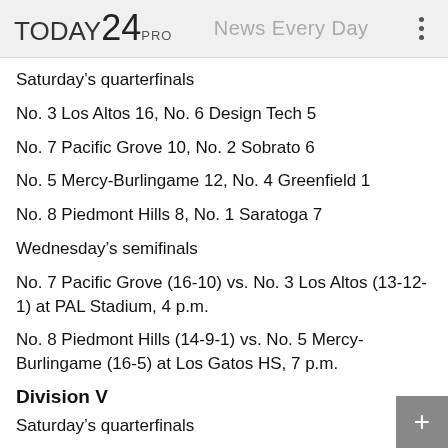TODAY24PRO  News Every Day
Saturday's quarterfinals
No. 3 Los Altos 16, No. 6 Design Tech 5
No. 7 Pacific Grove 10, No. 2 Sobrato 6
No. 5 Mercy-Burlingame 12, No. 4 Greenfield 1
No. 8 Piedmont Hills 8, No. 1 Saratoga 7
Wednesday's semifinals
No. 7 Pacific Grove (16-10) vs. No. 3 Los Altos (13-12-1) at PAL Stadium, 4 p.m.
No. 8 Piedmont Hills (14-9-1) vs. No. 5 Mercy-Burlingame (16-5) at Los Gatos HS, 7 p.m.
Division V
Saturday's quarterfinals